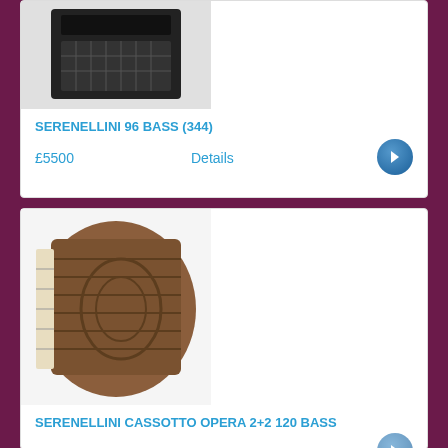[Figure (photo): Black accordion instrument photographed from above against white background]
SERENELLINI 96 BASS (344)
£5500
Details
[Figure (photo): Brown/tan vintage accordion photographed against white background]
SERENELLINI CASSOTTO OPERA 2+2 120 BASS